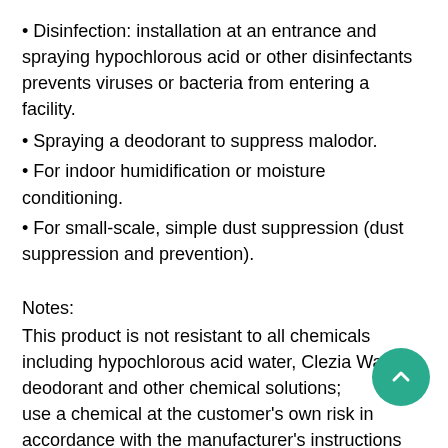Disinfection: installation at an entrance and spraying hypochlorous acid or other disinfectants prevents viruses or bacteria from entering a facility.
Spraying a deodorant to suppress malodor.
For indoor humidification or moisture conditioning.
For small-scale, simple dust suppression (dust suppression and prevention).
Notes:
This product is not resistant to all chemicals including hypochlorous acid water, Clezia Water, a deodorant and other chemical solutions; use a chemical at the customer's own risk in accordance with the manufacturer's instructions and manuals. Incidentally, warranties by IKEUCHI do not cover deterioration, corrosion, clogging or damages of this